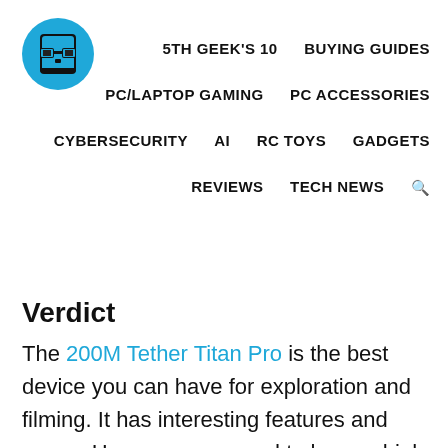[Figure (logo): Blue circle logo with pixel-art glasses icon (5th Geek website logo)]
5TH GEEK'S 10   BUYING GUIDES   PC/LAPTOP GAMING   PC ACCESSORIES   CYBERSECURITY   AI   RC TOYS   GADGETS   REVIEWS   TECH NEWS   🔍
Verdict
The 200M Tether Titan Pro is the best device you can have for exploration and filming. It has interesting features and specs. However, you need to have a high budget to purchase it since